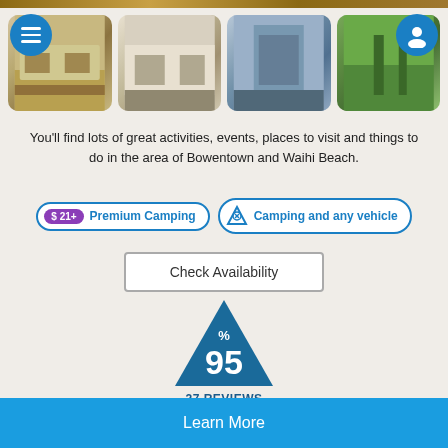[Figure (photo): Four thumbnail photos of camping/accommodation facilities at Bowentown and Waihi Beach]
You'll find lots of great activities, events, places to visit and things to do in the area of Bowentown and Waihi Beach.
[Figure (infographic): Two badges: $ 21+ Premium Camping and Camping and any vehicle]
[Figure (other): Check Availability button]
[Figure (infographic): Dark teal triangle badge showing 95% with 27 REVIEWS and 7 FACE-TO-FACE text]
Details
Learn More